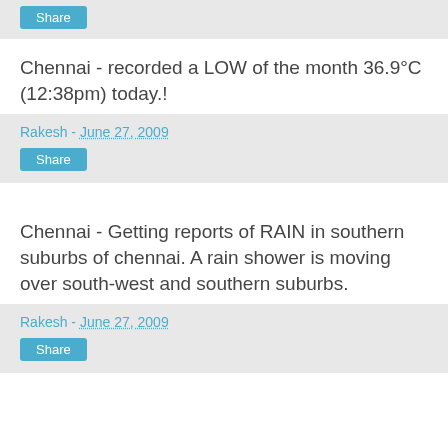Share
Chennai - recorded a LOW of the month 36.9°C (12:38pm) today.!
Rakesh - June 27, 2009
Share
Chennai - Getting reports of RAIN in southern suburbs of chennai. A rain shower is moving over south-west and southern suburbs.
Rakesh - June 27, 2009
Share